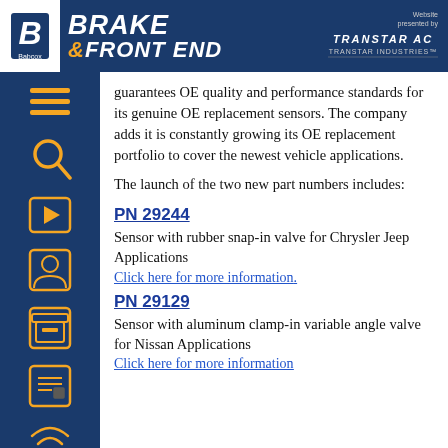BRAKE & FRONT END — Website presented by TRANSTAR INDUSTRIES
guarantees OE quality and performance standards for its genuine OE replacement sensors. The company adds it is constantly growing its OE replacement portfolio to cover the newest vehicle applications.
The launch of the two new part numbers includes:
PN 29244
Sensor with rubber snap-in valve for Chrysler Jeep Applications
Click here for more information.
PN 29129
Sensor with aluminum clamp-in variable angle valve for Nissan Applications
Click here for more information